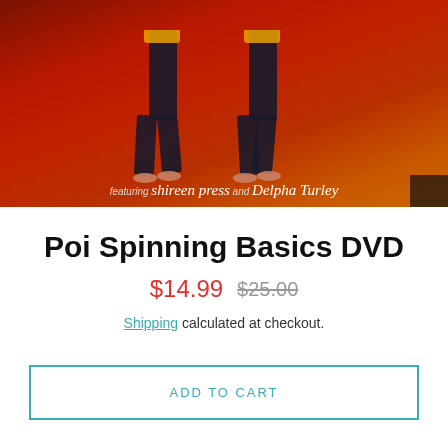[Figure (photo): Product image showing two dancers performing on a stage with warm red/orange lighting. Text overlay reads 'Featuring shireen press and Delpha Turley']
Poi Spinning Basics DVD
$14.99  $25.00
Shipping calculated at checkout.
ADD TO CART